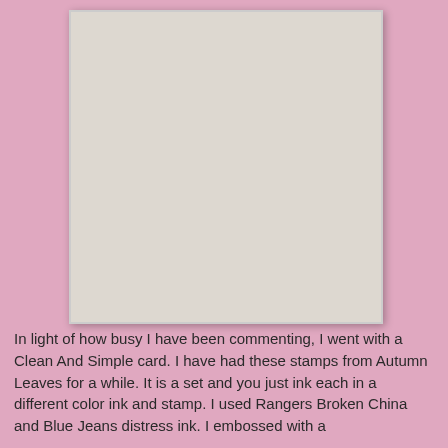[Figure (photo): A photograph of a handmade greeting card being held. The card is light grey/blue with an embossed scalloped frame border. Inside the frame is a stamped and colored cartoon giraffe in teal/blue tones. The word 'Congratulations' is printed in black italic text at the bottom right of the card. A small pink stamp credit appears at the bottom left.]
In light of how busy I have been commenting, I went with a Clean And Simple card. I have had these stamps from Autumn Leaves for a while. It is a set and you just ink each in a different color ink and stamp. I used Rangers Broken China and Blue Jeans distress ink. I embossed with a